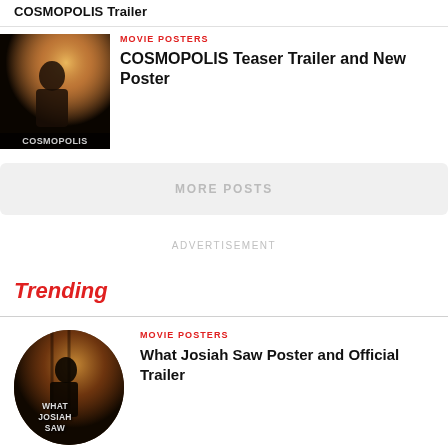COSMOPOLIS Trailer
MOVIE POSTERS
COSMOPOLIS Teaser Trailer and New Poster
MORE POSTS
ADVERTISEMENT
Trending
MOVIE POSTERS
What Josiah Saw Poster and Official Trailer